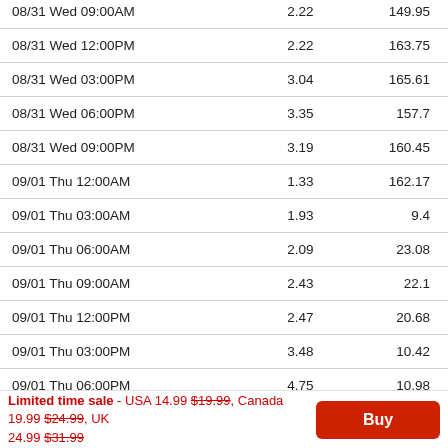| Date/Time |  |  |
| --- | --- | --- |
| 08/31 Wed 09:00AM | 2.22 | 149.95 |
| 08/31 Wed 12:00PM | 2.22 | 163.75 |
| 08/31 Wed 03:00PM | 3.04 | 165.61 |
| 08/31 Wed 06:00PM | 3.35 | 157.7 |
| 08/31 Wed 09:00PM | 3.19 | 160.45 |
| 09/01 Thu 12:00AM | 1.33 | 162.17 |
| 09/01 Thu 03:00AM | 1.93 | 9.4 |
| 09/01 Thu 06:00AM | 2.09 | 23.08 |
| 09/01 Thu 09:00AM | 2.43 | 22.1 |
| 09/01 Thu 12:00PM | 2.47 | 20.68 |
| 09/01 Thu 03:00PM | 3.48 | 10.42 |
| 09/01 Thu 06:00PM | 4.75 | 10.98 |
| 09/01 Thu 09:00PM | 4.95 | 9.12 |
| 09/02 Fri 12:00AM | 2.45 | 336.10 |
Limited time sale - USA 14.99 $19.99, Canada 19.99 $24.99, UK 24.99 $31.99